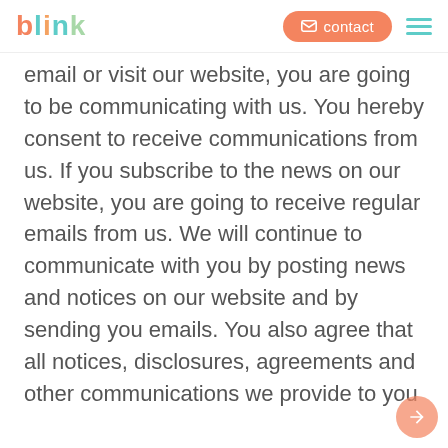blink | contact
email or visit our website, you are going to be communicating with us. You hereby consent to receive communications from us. If you subscribe to the news on our website, you are going to receive regular emails from us. We will continue to communicate with you by posting news and notices on our website and by sending you emails. You also agree that all notices, disclosures, agreements and other communications we provide to you